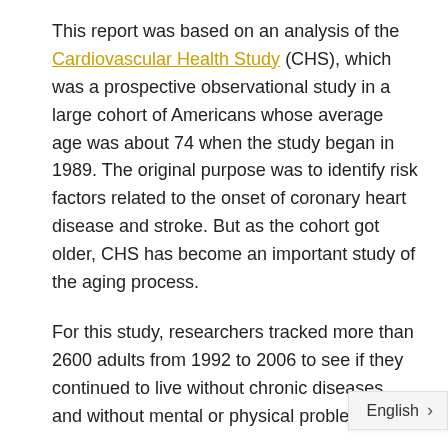This report was based on an analysis of the Cardiovascular Health Study (CHS), which was a prospective observational study in a large cohort of Americans whose average age was about 74 when the study began in 1989. The original purpose was to identify risk factors related to the onset of coronary heart disease and stroke. But as the cohort got older, CHS has become an important study of the aging process.
For this study, researchers tracked more than 2600 adults from 1992 to 2006 to see if they continued to live without chronic diseases and without mental or physical problems.
Blood levels of the long-chain omega-3s EPA, DPA and DHA, as well as the short-chain ome...